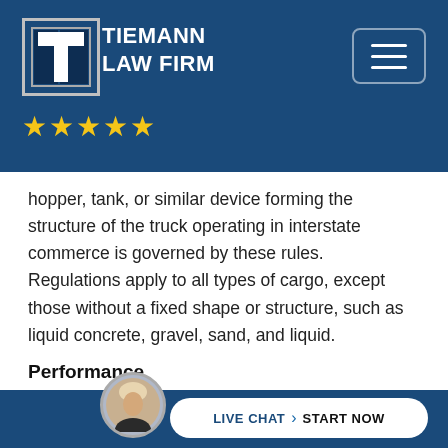TIEMANN LAW FIRM ★★★★★
hopper, tank, or similar device forming the structure of the truck operating in interstate commerce is governed by these rules. Regulations apply to all types of cargo, except those without a fixed shape or structure, such as liquid concrete, gravel, sand, and liquid.
Performance
Trucking companies must load all vehicles in such a way that the cargo is prevented from shifting or falling out when the driver speeds up or slows ... in ... of
LIVE CHAT › START NOW